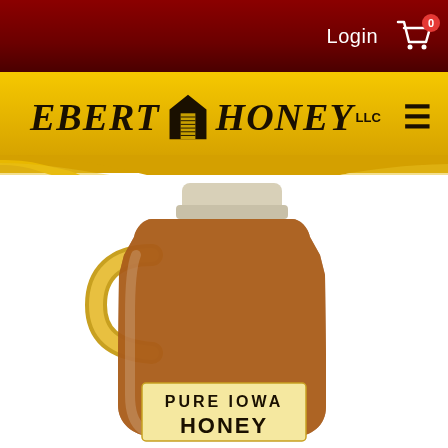Login  0
EBERT HONEY LLC
[Figure (photo): A large plastic jug of Pure Iowa Honey with a white cap and a label reading PURE IOWA HONEY, partially visible, amber-colored honey visible through the translucent brown jug, yellow handle on the left side.]